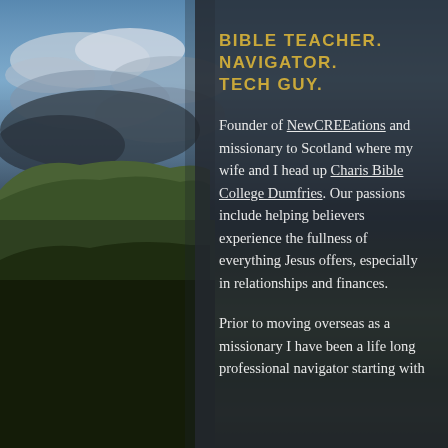[Figure (photo): Landscape photo of Scottish countryside with rolling green hills, dramatic cloudy sky with blue patches, and a dark overlay panel on the right side. The left portion shows the outdoor scene clearly.]
BIBLE TEACHER. NAVIGATOR. TECH GUY.
Founder of NewCREEations and missionary to Scotland where my wife and I head up Charis Bible College Dumfries. Our passions include helping believers experience the fullness of everything Jesus offers, especially in relationships and finances.
Prior to moving overseas as a missionary I have been a life long professional navigator starting with